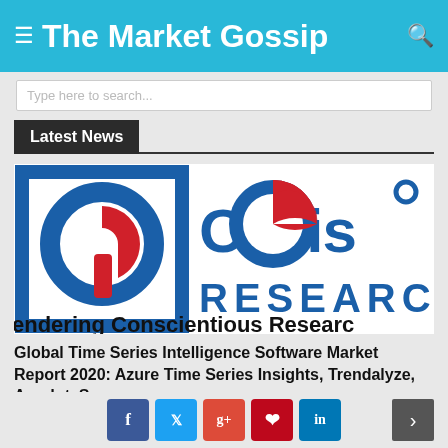The Market Gossip
Latest News
[Figure (logo): Orbis Research logo with tagline 'Rendering Conscientious Research']
Global Time Series Intelligence Software Market Report 2020: Azure Time Series Insights, Trendalyze, Anodot, Seeq